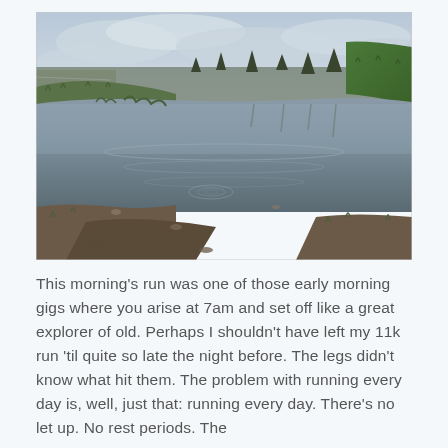[Figure (photo): Outdoor photo of a flooded muddy path or field with large puddles reflecting a cloudy grey sky. Green grassy banks and bare trees visible in the background, with a road or fence line in the far left distance.]
This morning's run was one of those early morning gigs where you arise at 7am and set off like a great explorer of old. Perhaps I shouldn't have left my 11k run 'til quite so late the night before. The legs didn't know what hit them. The problem with running every day is, well, just that: running every day. There's no let up. No rest periods. The